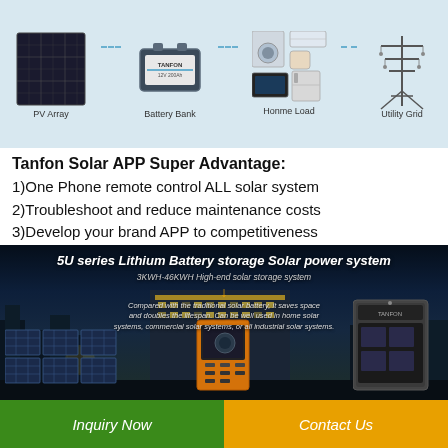[Figure (infographic): Solar system diagram showing PV Array, Battery Bank, Home Load, and Utility Grid connected with dotted lines on a light blue background]
Tanfon Solar APP Super Advantage:
1)One Phone remote control ALL solar system
2)Troubleshoot and reduce maintenance costs
3)Develop your brand APP to competitiveness
[Figure (photo): Nighttime photo with 5U series Lithium Battery storage Solar power system product display, showing solar panels and battery storage units against city night scene]
Inquiry Now    Contact Us